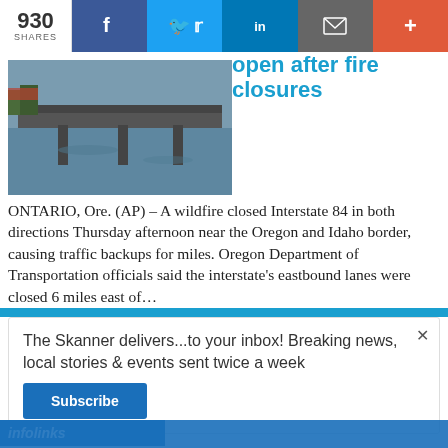930 SHARES | f | t | in | [email] | +
[Figure (photo): Photo of a bridge over a river with water reflections, trees visible in background]
open after fire closures
ONTARIO, Ore. (AP) – A wildfire closed Interstate 84 in both directions Thursday afternoon near the Oregon and Idaho border, causing traffic backups for miles. Oregon Department of Transportation officials said the interstate's eastbound lanes were closed 6 miles east of...
The Skanner delivers...to your inbox! Breaking news, local stories & events sent twice a week
Subscribe
infolinks